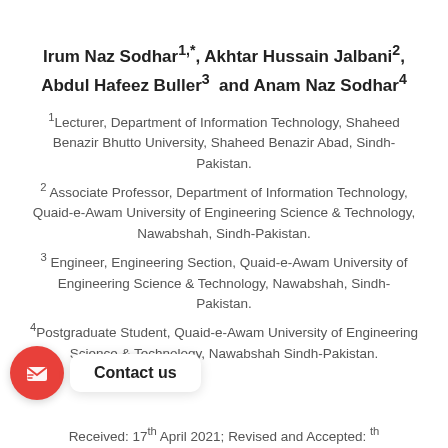Irum Naz Sodhar1,*, Akhtar Hussain Jalbani2, Abdul Hafeez Buller3 and Anam Naz Sodhar4
1Lecturer, Department of Information Technology, Shaheed Benazir Bhutto University, Shaheed Benazir Abad, Sindh-Pakistan.
2 Associate Professor, Department of Information Technology, Quaid-e-Awam University of Engineering Science & Technology, Nawabshah, Sindh-Pakistan.
3 Engineer, Engineering Section, Quaid-e-Awam University of Engineering Science & Technology, Nawabshah, Sindh-Pakistan.
4Postgraduate Student, Quaid-e-Awam University of Engineering Science & Technology, Nawabshah Sindh-Pakistan.
Received: 17th April 2021; Revised and Accepted: th